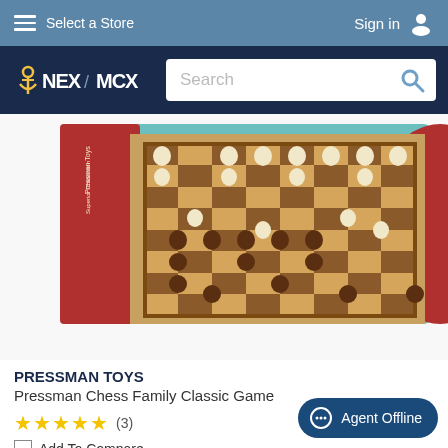Select a Store  |  Sign in
[Figure (logo): NEX / MCX logo with anchor icon]
[Figure (photo): Pressman Chess Family Classic Game product box showing chess board with pieces set up]
PRESSMAN TOYS
Pressman Chess Family Classic Game
★★★★★ (3)
Add To Compare